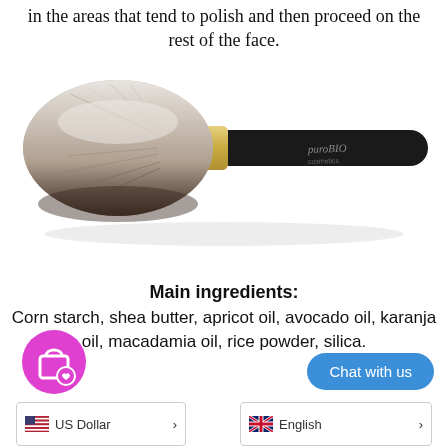in the areas that tend to polish and then proceed on the rest of the face.
[Figure (photo): A large makeup powder brush with soft gray and white bristles, gold ferrule, and black handle with 'puroBIO cosmetics' branding, photographed diagonally on a white background.]
Main ingredients:
Corn starch, shea butter, apricot oil, avocado oil, karanja oil, macadamia oil, rice powder, silica.
[Figure (illustration): Pink circular shopping bag with heart icon badge]
[Figure (illustration): Blue rounded rectangle 'Chat with us' button]
US Dollar ▶
English ▶